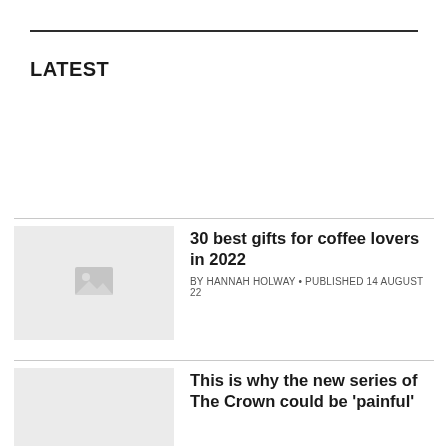LATEST
[Figure (photo): Placeholder thumbnail image for article 1]
30 best gifts for coffee lovers in 2022
BY HANNAH HOLWAY • PUBLISHED 14 AUGUST 22
[Figure (photo): Placeholder thumbnail image for article 2]
This is why the new series of The Crown could be 'painful'